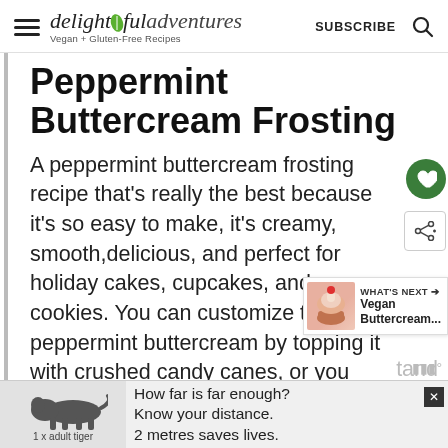delightful adventures — Vegan + Gluten-Free Recipes | SUBSCRIBE
Peppermint Buttercream Frosting
A peppermint buttercream frosting recipe that's really the best because it's so easy to make, it's creamy, smooth,delicious, and perfect for holiday cakes, cupcakes, and cookies. You can customize this peppermint buttercream by topping it with crushed candy canes, or you can add
[Figure (screenshot): What's Next panel showing a cupcake image and text 'Vegan Buttercream...']
[Figure (infographic): Ad banner: tiger illustration with text '1 x adult tiger' and 'How far is far enough? Know your distance. 2 metres saves lives.' with close button]